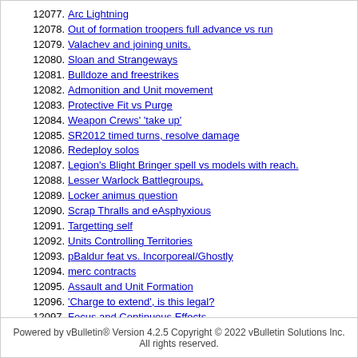12077. Arc Lightning
12078. Out of formation troopers full advance vs run
12079. Valachev and joining units.
12080. Sloan and Strangeways
12081. Bulldoze and freestrikes
12082. Admonition and Unit movement
12083. Protective Fit vs Purge
12084. Weapon Crews' 'take up'
12085. SR2012 timed turns, resolve damage
12086. Redeploy solos
12087. Legion's Blight Bringer spell vs models with reach.
12088. Lesser Warlock Battlegroups,
12089. Locker animus question
12090. Scrap Thralls and eAsphyxious
12091. Targetting self
12092. Units Controlling Territories
12093. pBaldur feat vs. Incorporeal/Ghostly
12094. merc contracts
12095. Assault and Unit Formation
12096. 'Charge to extend', is this legal?
12097. Focus and Continuous Effects
12098. Can my Warcaster cast non-offensive spells on him/herself?
12099. Stationary Warcaster versus focus allocation
12100. Carpet Bomb are the AOEs simultaneous?
Powered by vBulletin® Version 4.2.5 Copyright © 2022 vBulletin Solutions Inc. All rights reserved.